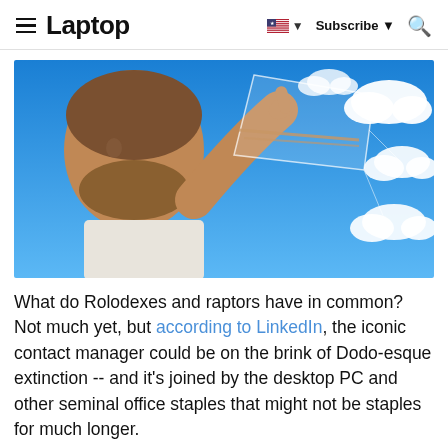Laptop | Subscribe
[Figure (photo): A middle-aged man with a beard pointing at a transparent floating screen in the sky, with cloud computing network diagram overlay on a blue sky background]
What do Rolodexes and raptors have in common? Not much yet, but according to LinkedIn, the iconic contact manager could be on the brink of Dodo-esque extinction -- and it's joined by the desktop PC and other seminal office staples that might not be staples for much longer.